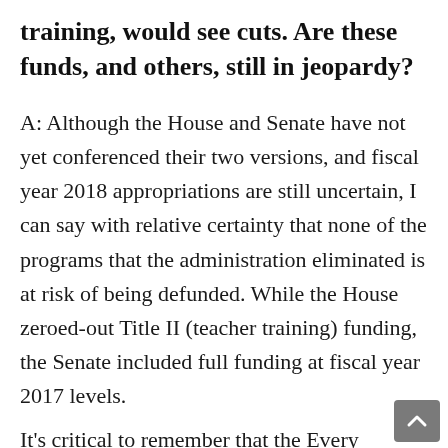training, would see cuts. Are these funds, and others, still in jeopardy?
A: Although the House and Senate have not yet conferenced their two versions, and fiscal year 2018 appropriations are still uncertain, I can say with relative certainty that none of the programs that the administration eliminated is at risk of being defunded. While the House zeroed-out Title II (teacher training) funding, the Senate included full funding at fiscal year 2017 levels.
It's critical to remember that the Every